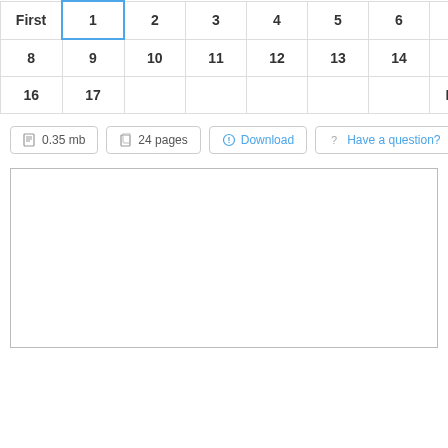| First | 1 | 2 | 3 | 4 | 5 | 6 | 7 |
| --- | --- | --- | --- | --- | --- | --- | --- |
| 8 | 9 | 10 | 11 | 12 | 13 | 14 | 15 |
| 16 | 17 |  |  |  |  |  | Last |
0.35 mb   24 pages   Download   Have a question?
[Figure (other): Empty white preview/content box with border]